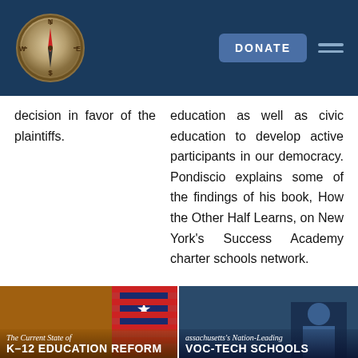[Figure (logo): Compass logo on dark blue navigation header bar with DONATE button and hamburger menu icon]
decision in favor of the plaintiffs.
education as well as civic education to develop active participants in our democracy. Pondiscio explains some of the findings of his book, How the Other Half Learns, on New York's Success Academy charter schools network.
[Figure (photo): Thumbnail image with text overlay: 'The Current State of K-12 EDUCATION REFORM']
[Figure (photo): Thumbnail image with text overlay: 'assachusetts's Nation-Leading VOC-TECH SCHOOLS']